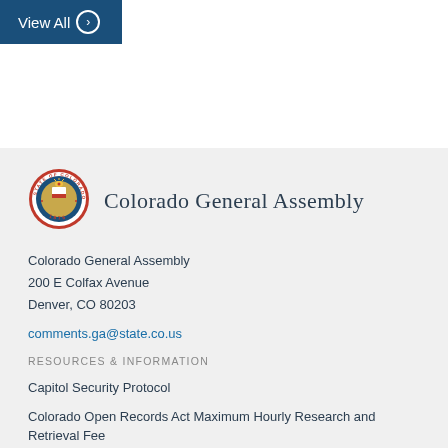[Figure (other): Blue 'View All' button with right-arrow circle icon]
[Figure (logo): Colorado state seal — circular red and gold emblem with 'STATE OF COLORADO 1876']
Colorado General Assembly
Colorado General Assembly
200 E Colfax Avenue
Denver, CO 80203
comments.ga@state.co.us
RESOURCES & INFORMATION
Capitol Security Protocol
Colorado Open Records Act Maximum Hourly Research and Retrieval Fee